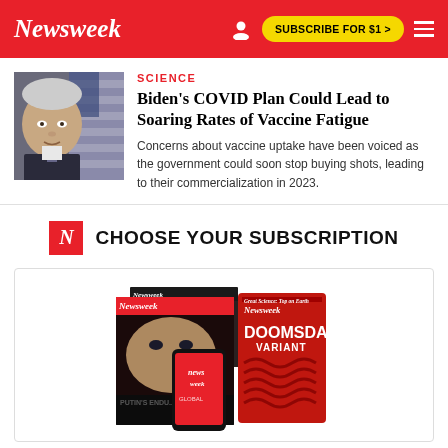Newsweek | SUBSCRIBE FOR $1 >
SCIENCE
Biden's COVID Plan Could Lead to Soaring Rates of Vaccine Fatigue
Concerns about vaccine uptake have been voiced as the government could soon stop buying shots, leading to their commercialization in 2023.
CHOOSE YOUR SUBSCRIPTION
[Figure (photo): Newsweek magazine covers and digital subscription options showing Putin cover and Doomsday Variant cover on tablet, with phone app]